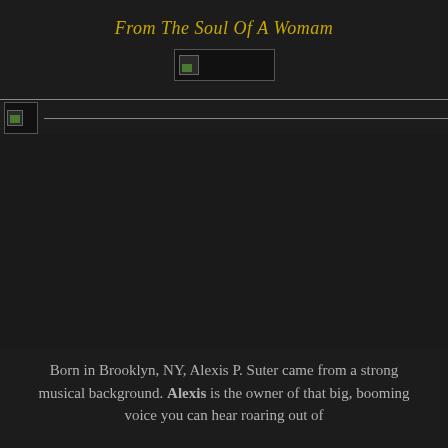From The Soul Of A Womam
[Figure (photo): Small broken/placeholder image centered below the title]
[Figure (photo): Wide banner broken/placeholder image spanning the full width with a horizontal rule]
[Figure (photo): Large dark main image area (artist photo, not loaded)]
Born in Brooklyn, NY, Alexis P. Suter came from a strong musical background. Alexis is the owner of that big, booming voice you can hear roaring out of